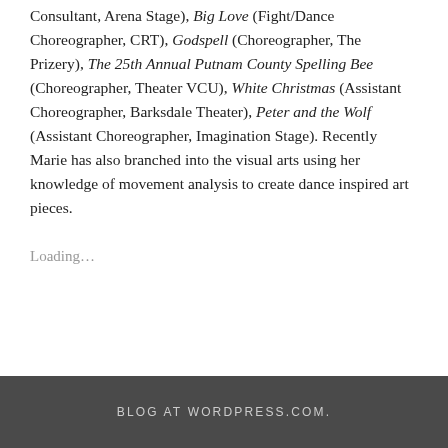Consultant, Arena Stage), Big Love (Fight/Dance Choreographer, CRT), Godspell (Choreographer, The Prizery), The 25th Annual Putnam County Spelling Bee (Choreographer, Theater VCU), White Christmas (Assistant Choreographer, Barksdale Theater), Peter and the Wolf (Assistant Choreographer, Imagination Stage). Recently Marie has also branched into the visual arts using her knowledge of movement analysis to create dance inspired art pieces.
Loading…
BLOG AT WORDPRESS.COM.